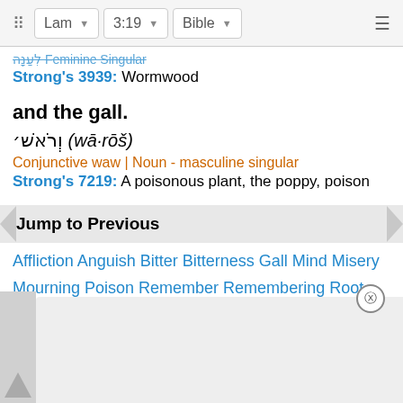Lam | 3:19 | Bible
Strong's 3939: Wormwood
and the gall.
וְרֹאשׁ (wā·rōš)
Conjunctive waw | Noun - masculine singular
Strong's 7219: A poisonous plant, the poppy, poison
Jump to Previous
Affliction Anguish Bitter Bitterness Gall Mind Misery Mourning Poison Remember Remembering Root Trouble Wandering Wormwood
Jump to Next
Affliction ... Misery Mourning ... Root Trouble